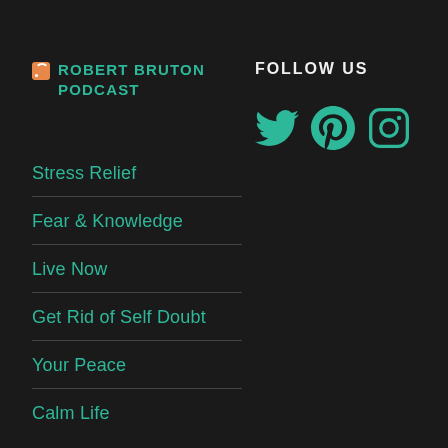ROBERT BRUTON PODCAST
FOLLOW US
[Figure (other): Social media icons: Twitter, Pinterest, Instagram in teal color]
Stress Relief
Fear & Knowledge
Live Now
Get Rid of Self Doubt
Your Peace
Calm Life